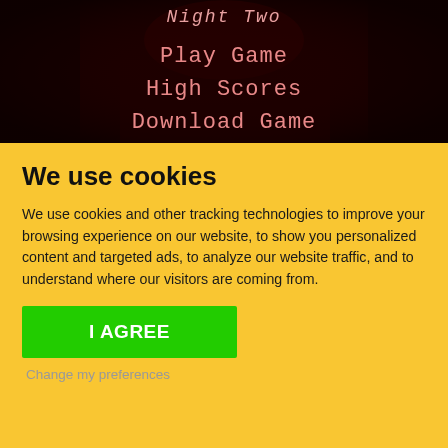[Figure (screenshot): Dark red horror game screenshot showing 'Night Two' title in italic text at top, with menu options 'Play Game', 'High Scores', 'Download Game' in pinkish-red text on a dark red shadowy background]
We use cookies
We use cookies and other tracking technologies to improve your browsing experience on our website, to show you personalized content and targeted ads, to analyze our website traffic, and to understand where our visitors are coming from.
I AGREE
Change my preferences